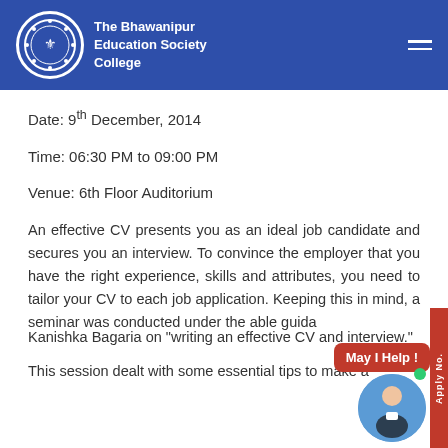The Bhawanipur Education Society College
Date: 9th December, 2014
Time: 06:30 PM to 09:00 PM
Venue: 6th Floor Auditorium
An effective CV presents you as an ideal job candidate and secures you an interview. To convince the employer that you have the right experience, skills and attributes, you need to tailor your CV to each job application. Keeping this in mind, a seminar was conducted under the able guidance of Kanishka Bagaria on “writing an effective CV and interview.”
This session dealt with some essential tips to make a...